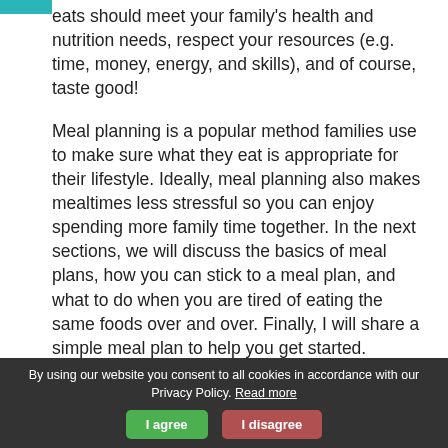eats should meet your family's health and nutrition needs, respect your resources (e.g. time, money, energy, and skills), and of course, taste good!
Meal planning is a popular method families use to make sure what they eat is appropriate for their lifestyle. Ideally, meal planning also makes mealtimes less stressful so you can enjoy spending more family time together. In the next sections, we will discuss the basics of meal plans, how you can stick to a meal plan, and what to do when you are tired of eating the same foods over and over. Finally, I will share a simple meal plan to help you get started.
By using our website you consent to all cookies in accordance with our Privacy Policy. Read more